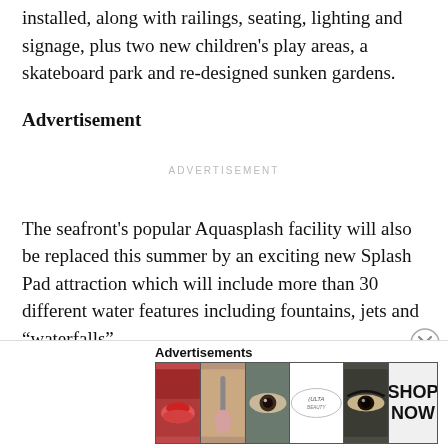installed, along with railings, seating, lighting and signage, plus two new children's play areas, a skateboard park and re-designed sunken gardens.
Advertisement
[Figure (other): Advertisement placeholder with text 'ADVERTISEMENT' centered in gray]
The seafront's popular Aquasplash facility will also be replaced this summer by an exciting new Splash Pad attraction which will include more than 30 different water features including fountains, jets and “waterfalls”.
Also, visitors to the beach have been enjoying the new
[Figure (other): Bottom banner advertisement for Ulta Beauty with images of lips, makeup brush, eye, Ulta logo, eye closeup, and SHOP NOW button]